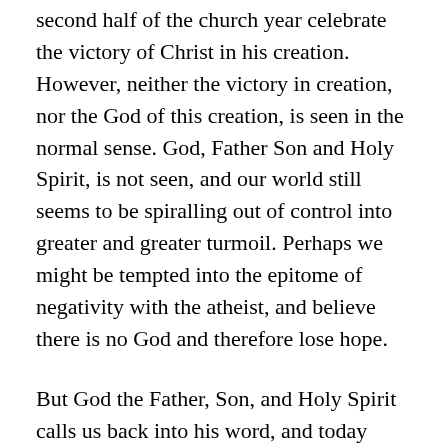second half of the church year celebrate the victory of Christ in his creation. However, neither the victory in creation, nor the God of this creation, is seen in the normal sense. God, Father Son and Holy Spirit, is not seen, and our world still seems to be spiralling out of control into greater and greater turmoil. Perhaps we might be tempted into the epitome of negativity with the atheist, and believe there is no God and therefore lose hope.
But God the Father, Son, and Holy Spirit calls us back into his word, and today especially his “word of beginnings”. His victory calls us to see creation as it was at the beginning and as it will be at the end. And we’re called to